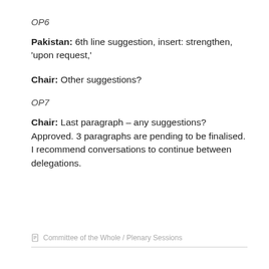OP6
Pakistan: 6th line suggestion, insert: strengthen, ‘upon request,’
Chair: Other suggestions?
OP7
Chair: Last paragraph – any suggestions? Approved. 3 paragraphs are pending to be finalised. I recommend conversations to continue between delegations.
Committee of the Whole / Plenary Sessions